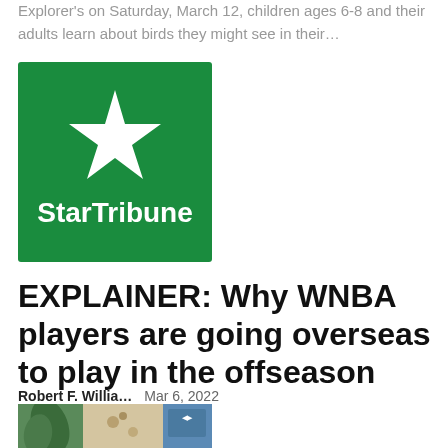Explorer's on Saturday, March 12, children ages 6-8 and their adults learn about birds they might see in their…
[Figure (logo): Star Tribune logo: green rectangle with white star and white text 'StarTribune']
EXPLAINER: Why WNBA players are going overseas to play in the offseason
Robert F. Willia…    Mar 6, 2022
...
[Figure (photo): Partial image at bottom of page showing green and tan toned imagery]